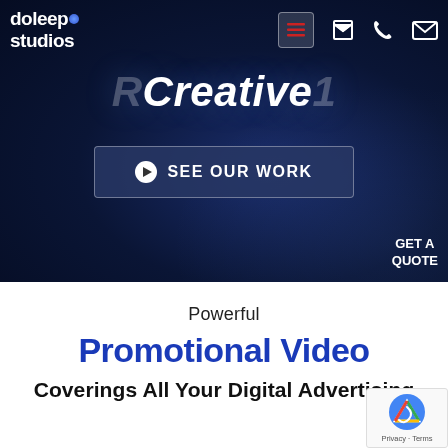[Figure (screenshot): Doleep Studios website hero section with dark navy blue background, logo top left, navigation icons top right, 'Creative' italic text center, 'SEE OUR WORK' button, and 'GET A QUOTE' text bottom right]
Creative
SEE OUR WORK
GET A
QUOTE
Powerful
Promotional Video
Coverings All Your Digital Advertising